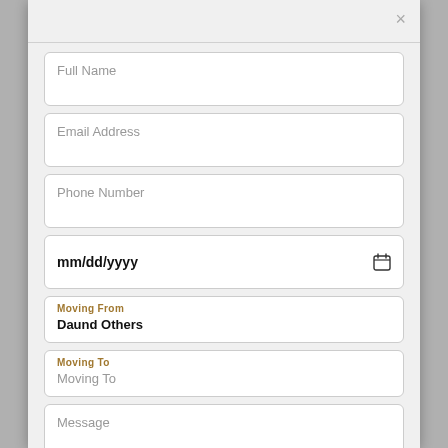×
Full Name
Email Address
Phone Number
mm/dd/yyyy
Moving From
Daund Others
Moving To
Moving To
Message